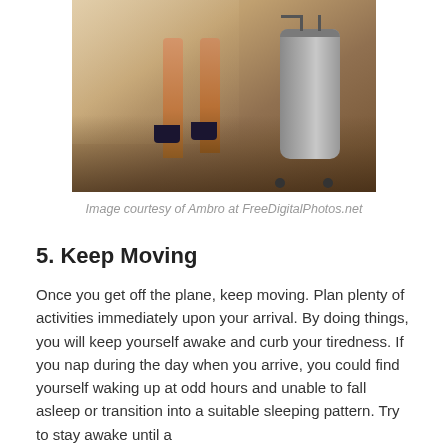[Figure (photo): Lower body of a woman in a dark skirt and high heels standing next to a silver rolling suitcase, photographed indoors with natural light coming through blinds.]
Image courtesy of Ambro at FreeDigitalPhotos.net
5. Keep Moving
Once you get off the plane, keep moving. Plan plenty of activities immediately upon your arrival. By doing things, you will keep yourself awake and curb your tiredness. If you nap during the day when you arrive, you could find yourself waking up at odd hours and unable to fall asleep or transition into a suitable sleeping pattern. Try to stay awake until a